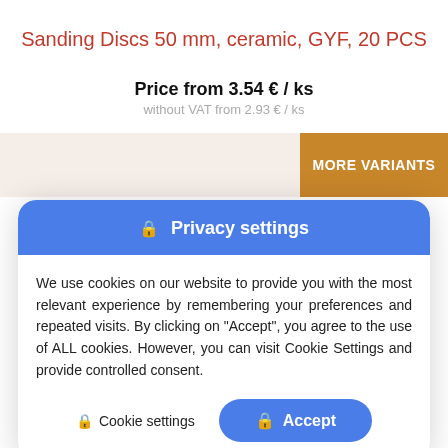Sanding Discs 50 mm, ceramic, GYF, 20 PCS
Price from 3.54 € / ks
without VAT from 2.93 € / ks
[Figure (screenshot): Orange 'MORE VARIANTS' button on a light beige/pink background bar]
🔒 Privacy settings
We use cookies on our website to provide you with the most relevant experience by remembering your preferences and repeated visits. By clicking on "Accept", you agree to the use of ALL cookies. However, you can visit Cookie Settings and provide controlled consent.
🔒 Cookie settings
🔒 Accept
Price from 3.29 € / ks